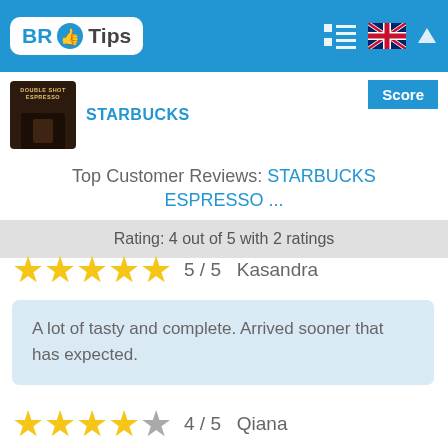BR Tips
[Figure (logo): BR Tips logo with thumbs up icon on blue header bar, UK flag icon and menu icons on right]
STARBUCKS
Top Customer Reviews: STARBUCKS ESPRESSO ...
Rating: 4 out of 5 with 2 ratings
5 / 5   Kasandra
A lot of tasty and complete. Arrived sooner that has expected.
4 / 5   Qiana